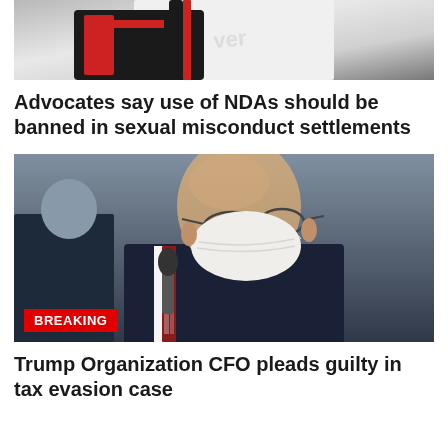[Figure (photo): Partial view of a hockey player in black and red gear holding a stick]
Advocates say use of NDAs should be banned in sexual misconduct settlements
[Figure (photo): Bald man in glasses wearing a white face mask and dark suit with a striped tie, looking downward. A BREAKING badge is overlaid in the bottom left corner.]
Trump Organization CFO pleads guilty in tax evasion case